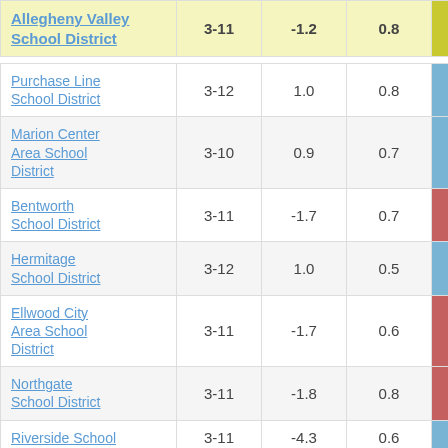| District | Grades | Col3 | Col4 | Score |
| --- | --- | --- | --- | --- |
| Allegheny Valley School District | 3-11 | -1.2 | 0.8 | -1.50 |
| Purchase Line School District | 3-12 | 1.0 | 0.8 | 1.21 |
| Marion Center Area School District | 3-10 | 0.9 | 0.7 | 1.31 |
| Bentworth School District | 3-11 | -1.7 | 0.7 | -2.39 |
| Hermitage School District | 3-12 | 1.0 | 0.5 | 1.94 |
| Ellwood City Area School District | 3-11 | -1.7 | 0.6 | -3.02 |
| Northgate School District | 3-11 | -1.8 | 0.8 | -2.25 |
| Riverside School District | 3-11 | -4.3 | 0.6 | -7.08 |